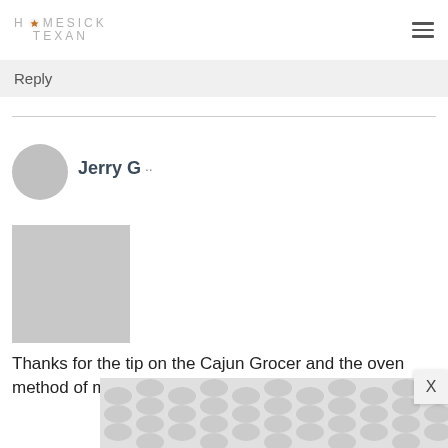Homesick Texan
Reply
Jerry G
Thanks for the tip on the Cajun Grocer and the oven method of making roux.
[Figure (other): Advertisement banner with decorative circular pattern in gray tones]